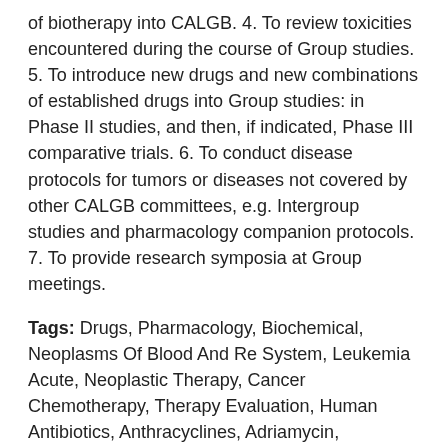of biotherapy into CALGB. 4. To review toxicities encountered during the course of Group studies. 5. To introduce new drugs and new combinations of established drugs into Group studies: in Phase II studies, and then, if indicated, Phase III comparative trials. 6. To conduct disease protocols for tumors or diseases not covered by other CALGB committees, e.g. Intergroup studies and pharmacology companion protocols. 7. To provide research symposia at Group meetings.
Tags: Drugs, Pharmacology, Biochemical, Neoplasms Of Blood And Re System, Leukemia Acute, Neoplastic Therapy, Cancer Chemotherapy, Therapy Evaluation, Human Antibiotics, Anthracyclines, Adriamycin, Antibiotics, Bleomycin, Antineoplastic Agents, Antineoplastic Agents, Biological Response Modifiers, Drugs Adverse Effects, Drugs, Chemotherapy, Drugs